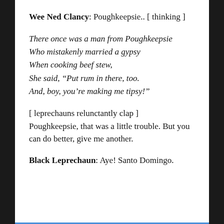Wee Ned Clancy: Poughkeepsie.. [ thinking ]
There once was a man from Poughkeepsie
Who mistakenly married a gypsy
When cooking beef stew,
She said, “Put rum in there, too.
And, boy, you’re making me tipsy!”
[ leprechauns relunctantly clap ]
Poughkeepsie, that was a little trouble. But you can do better, give me another.
Black Leprechaun: Aye! Santo Domingo.